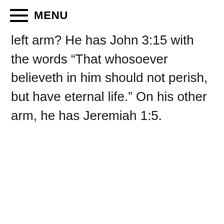MENU
left arm? He has John 3:15 with the words “That whosoever believeth in him should not perish, but have eternal life.” On his other arm, he has Jeremiah 1:5.